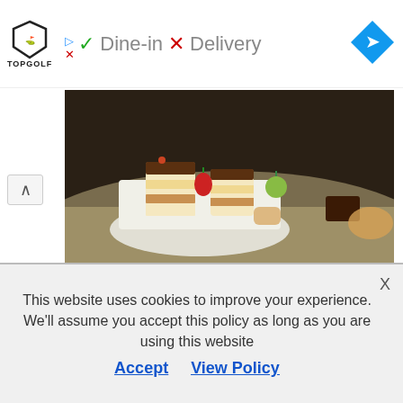[Figure (screenshot): Ad banner with Topgolf logo, green checkmark Dine-in, red X Delivery, and blue navigation diamond icon]
[Figure (photo): Plated desserts and pastries on white plates, including layered cake slices, strawberries, and chocolate treats]
Cake Decorating Affiliate Programs Can Teach People A Wide Variety Of Techniques
Closing Thoughts On These Cake Decorating Affiliate
This website uses cookies to improve your experience. We'll assume you accept this policy as long as you are using this website
Accept   View Policy